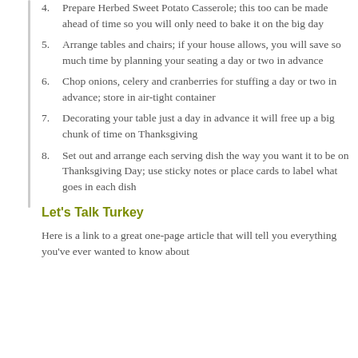4. Prepare Herbed Sweet Potato Casserole; this too can be made ahead of time so you will only need to bake it on the big day
5. Arrange tables and chairs; if your house allows, you will save so much time by planning your seating a day or two in advance
6. Chop onions, celery and cranberries for stuffing a day or two in advance; store in air-tight container
7. Decorating your table just a day in advance it will free up a big chunk of time on Thanksgiving
8. Set out and arrange each serving dish the way you want it to be on Thanksgiving Day; use sticky notes or place cards to label what goes in each dish
Let's Talk Turkey
Here is a link to a great one-page article that will tell you everything you've ever wanted to know about